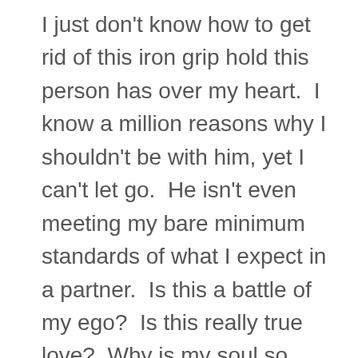I just don't know how to get rid of this iron grip hold this person has over my heart.  I know a million reasons why I shouldn't be with him, yet I can't let go.  He isn't even meeting my bare minimum standards of what I expect in a partner.  Is this a battle of my ego?  Is this really true love?  Why is my soul so connected to this individual?  Why do I feel like I can't let him or myself down by giving up on him?  Why is this happening to me?  Something keeps pulling me back to him even though he flips the script and makes it seem like everything is my fault.  I know I sound absolutely nuts to anyone watching or reading this from the outside.  I feel crazy because I can't make any sense of my emotions.  I am smart, so why can't I let go of something that's this unhealthy?  Why do I keep